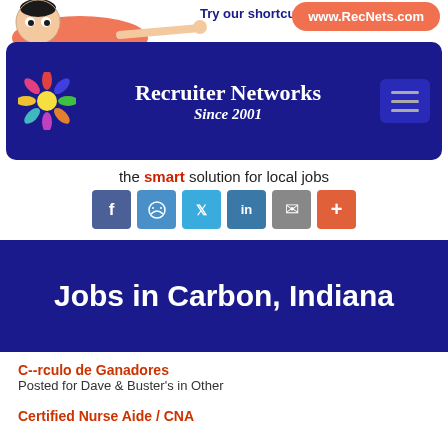[Figure (logo): Recruiter Networks header with cartoon character, navy bar with logo, brand name 'Recruiter Networks Since 2001', shortcut text, RecNets.com button, hamburger menu]
the smart solution for local jobs
[Figure (infographic): Social sharing icons row: Facebook, Messenger, Twitter, LinkedIn, Email, Plus]
Jobs in Carbon, Indiana
C--rculo de Ganadores
Posted for Dave & Buster's in Other
Certified Nurse Aide / CNA